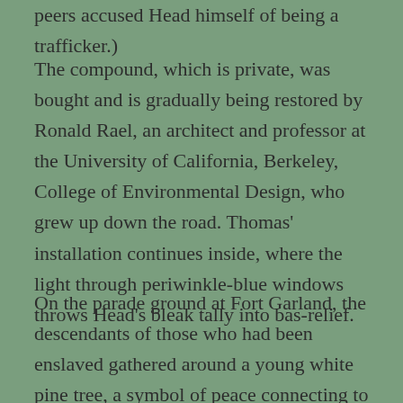peers accused Head himself of being a trafficker.)
The compound, which is private, was bought and is gradually being restored by Ronald Rael, an architect and professor at the University of California, Berkeley, College of Environmental Design, who grew up down the road. Thomas' installation continues inside, where the light through periwinkle-blue windows throws Head's bleak tally into bas-relief.
On the parade ground at Fort Garland, the descendants of those who had been enslaved gathered around a young white pine tree, a symbol of peace connecting to the sacred eastern mountain of the Navajo people. Women prepared and planted it in recognition of the violence that continues to plague Indigenous females. It was a means to begin burying the false narratives of the